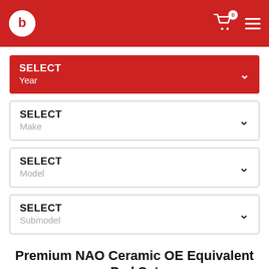[Figure (screenshot): Website header with red background, Brembo logo on left, shopping cart icon with badge '0' and hamburger menu on right]
SELECT
Year
SELECT
Make
SELECT
Model
SELECT
Submodel
Premium NAO Ceramic OE Equivalent Pad Set
PART #: P30020N